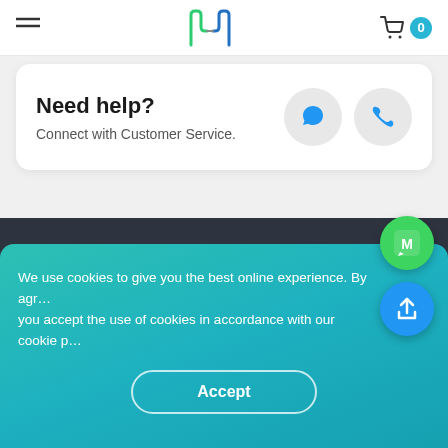Navigation bar with hamburger menu, logo, cart icon with badge 0
Need help?
Connect with Customer Service.
□□□□
□□□□
□□□□□ □□□□ □□□□
We use cookies to give you the best online experience. By agreeing you accept the use of cookies in accordance with our cookie policy.
Accept
□□□□□